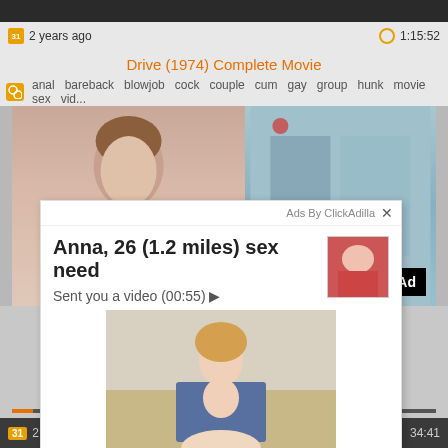[Figure (screenshot): Top dark strip of a video player thumbnail]
2 years ago
1:15:52
Drive (1974) Complete Movie
anal  bareback  blowjob  cock  couple  cum  gay  group  hunk  movie  sex  vid...
[Figure (screenshot): Video player showing a person in a room scene, with [x] Close Ad button overlay]
[x] Close Ad
Ads By ClickAdilla
Anna, 26 (1.2 miles) sex need
Sent you a video (00:55) ▶
[Figure (photo): Advertisement photo of a woman]
2
box
34:41